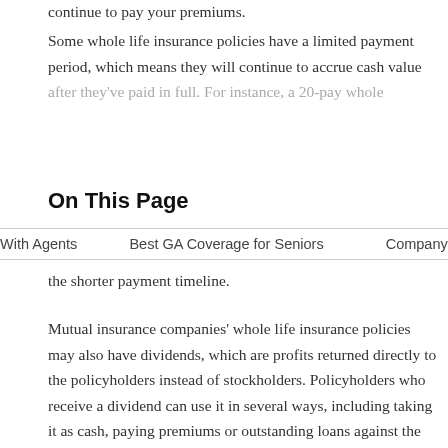continue to pay your premiums.
Some whole life insurance policies have a limited payment period, which means they will continue to accrue cash value after they've paid in full. For instance, a 20-pay whole life policy lets you pay premiums for 20 years, after which no more payments are required. However, premiums are usually higher due to the shorter payment timeline.
On This Page
With Agents    Best GA Coverage for Seniors    Company Co
the shorter payment timeline.
Mutual insurance companies' whole life insurance policies may also have dividends, which are profits returned directly to the policyholders instead of stockholders. Policyholders who receive a dividend can use it in several ways, including taking it as cash, paying premiums or outstanding loans against the cash value, or buying paid-up additions. When you purchase paid-up additions, the dividends are used to buy additional whole life insurance coverage, increasing the death benefit amount and cash value.